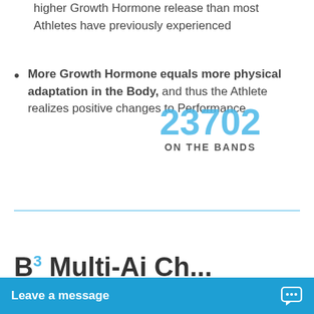higher Growth Hormone release than most Athletes have previously experienced
More Growth Hormone equals more physical adaptation in the Body, and thus the Athlete realizes positive changes to Performance
[Figure (other): Watermark overlay showing '23702' in large blue text and 'ON THE BANDS' in smaller dark text below]
B³ Multi-Ai...
Leave a message